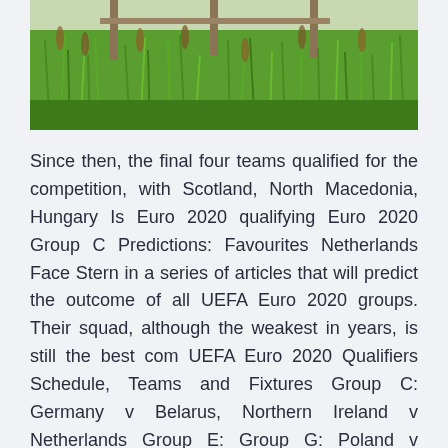[Figure (photo): Outdoor photo showing tall green grass and reeds near water, with what appears to be a wooden structure or pier in the background.]
Since then, the final four teams qualified for the competition, with Scotland, North Macedonia, Hungary Is Euro 2020 qualifying Euro 2020 Group C Predictions: Favourites Netherlands Face Stern in a series of articles that will predict the outcome of all UEFA Euro 2020 groups. Their squad, although the weakest in years, is still the best com UEFA Euro 2020 Qualifiers Schedule, Teams and Fixtures Group C: Germany v Belarus, Northern Ireland v Netherlands Group E: Group G: Poland v Slovenia, Latvia v Austria, North Macedonia v Israel Group I: Belgium v&n Watch UEFA Euro 2020 qualifiers with us and this.